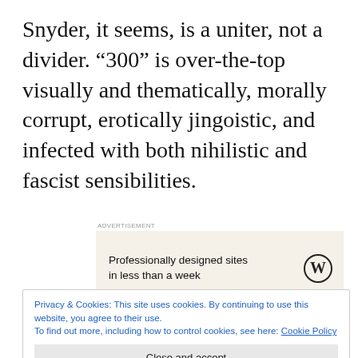Snyder, it seems, is a uniter, not a divider. “300” is over-the-top visually and thematically, morally corrupt, erotically jingoistic, and infected with both nihilistic and fascist sensibilities.
[Figure (screenshot): WordPress advertisement banner with text 'Professionally designed sites in less than a week' and WordPress logo on a beige background]
Privacy & Cookies: This site uses cookies. By continuing to use this website, you agree to their use. To find out more, including how to control cookies, see here: Cookie Policy
Close and accept
much of them hard to see. Of course, some of